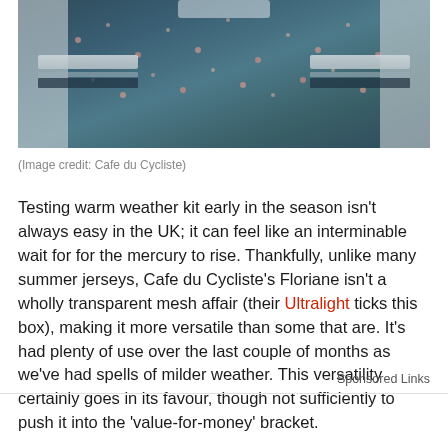[Figure (photo): Close-up photo of a person wearing a dark floral cycling jersey with grey striped sleeve bands, cropped to show torso and arms]
(Image credit: Cafe du Cycliste)
Testing warm weather kit early in the season isn't always easy in the UK; it can feel like an interminable wait for for the mercury to rise. Thankfully, unlike many summer jerseys, Cafe du Cycliste's Floriane isn't a wholly transparent mesh affair (their Ultralight ticks this box), making it more versatile than some that are. It's had plenty of use over the last couple of months as we've had spells of milder weather. This versatility certainly goes in its favour, though not sufficiently to push it into the 'value-for-money' bracket.
Sponsored Links